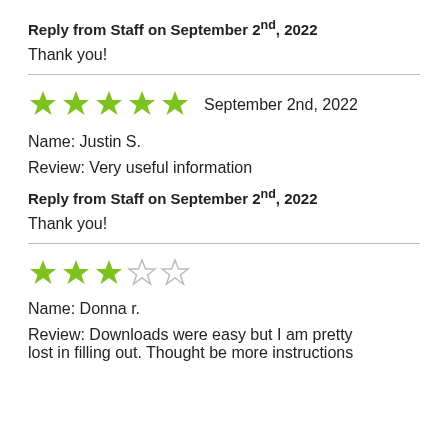Reply from Staff on September 2nd, 2022
Thank you!
★★★★★ September 2nd, 2022
Name: Justin S.
Review: Very useful information
Reply from Staff on September 2nd, 2022
Thank you!
★★★☆☆ (3 out of 5 stars)
Name: Donna r.
Review: Downloads were easy but I am pretty lost in filling out. Thought be more instructions